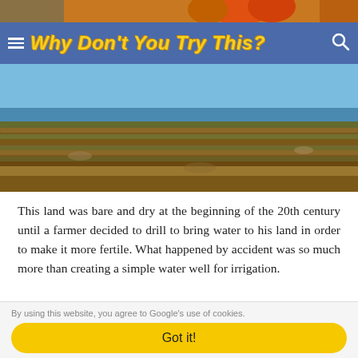[Figure (photo): Top image strip showing colorful produce/pumpkins at top]
Why Don't You Try This?
[Figure (photo): Aerial landscape photo showing terraced dry land with reddish-brown soil and sparse vegetation near water]
This land was bare and dry at the beginning of the 20th century until a farmer decided to drill to bring water to his land in order to make it more fertile. What happened by accident was so much more than creating a simple water well for irrigation.
[Figure (photo): Photo of a geyser or water spout shooting up against a blue sky with clouds]
By using this website, you agree to Google's use of cookies.
Got it!